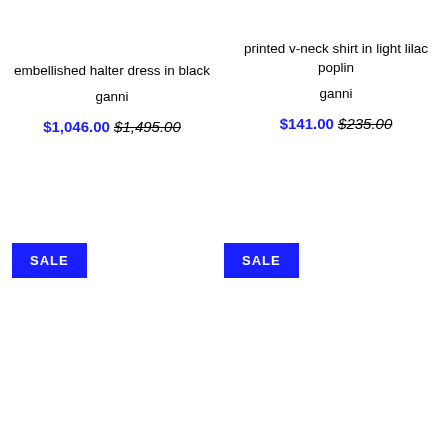embellished halter dress in black
ganni
$1,046.00 $1,495.00
SALE
printed v-neck shirt in light lilac poplin
ganni
$141.00 $235.00
SALE